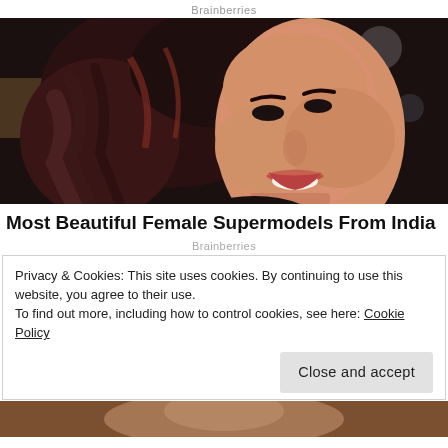Brainberries
[Figure (photo): Close-up photo of a smiling Indian woman with dark wavy hair, looking slightly upward, dark background with bokeh lights]
Most Beautiful Female Supermodels From India
Brainberries
Privacy & Cookies: This site uses cookies. By continuing to use this website, you agree to their use.
To find out more, including how to control cookies, see here: Cookie Policy
Close and accept
[Figure (photo): Partial view of another person at the bottom of the page, cropped]